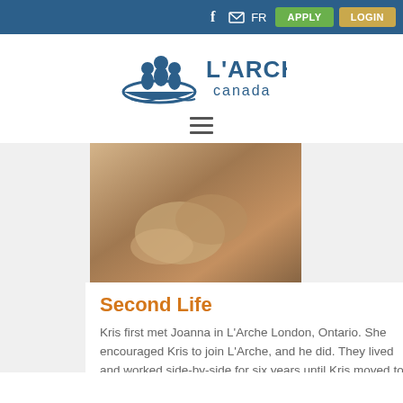FR | APPLY | LOGIN
[Figure (logo): L'Arche Canada logo with boat and people icon]
[Figure (photo): Close-up photo of two people holding hands]
Second Life
Kris first met Joanna in L'Arche London, Ontario. She encouraged Kris to join L'Arche, and he did. They lived and worked side-by-side for six years until Kris moved to Nova Scotia. Still, they managed to see
Aging
Caring for Others
Gratitude
Life-sharing
Solidarity
Story